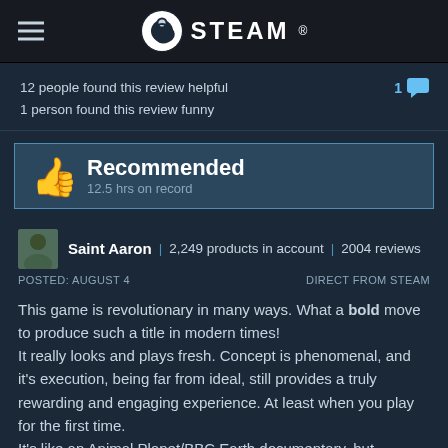STEAM
12 people found this review helpful
1 person found this review funny
Recommended
12.5 hrs on record
Saint Aaron | 2,249 products in account | 2004 reviews
POSTED: AUGUST 4   DIRECT FROM STEAM
This game is revolutionary in many ways. What a bold move to produce such a title in modern times!
It really looks and plays fresh. Concept is phenomenal, and it's execution, being far from ideal, still provides a truly rewarding and engaging experience. At least when you play for the first time.
It's like an Animal Planet/BBC Earth documentary, but interactive and not that chilled out, because you have to be